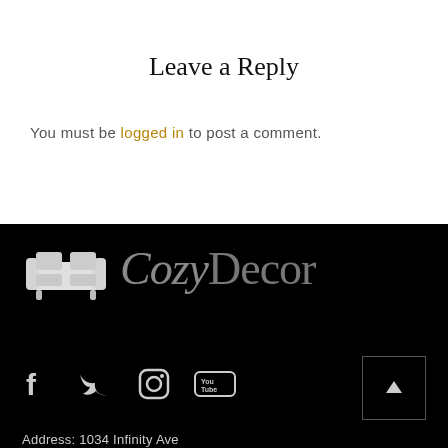Leave a Reply
You must be logged in to post a comment.
[Figure (logo): CozyDecor brand logo with sofa icon and stylized text]
[Figure (infographic): Social media icons: Facebook, Twitter, Instagram, YouTube]
[Figure (other): Back to top arrow button]
Address: 1034 Infinity Ave